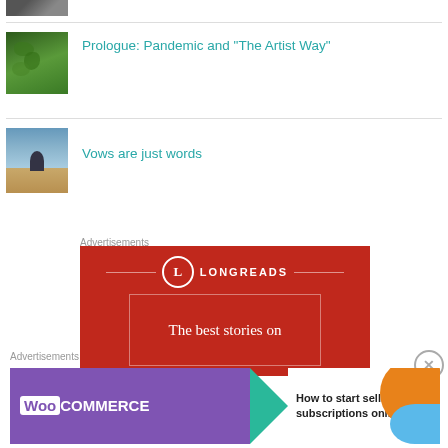[Figure (photo): Partial thumbnail image at top, person photo cropped]
[Figure (photo): Green leaves thumbnail image]
Prologue: Pandemic and “The Artist Way”
[Figure (photo): Person sitting looking at horizon thumbnail]
Vows are just words
Advertisements
[Figure (logo): Longreads advertisement - red background with Longreads logo and text 'The best stories on']
Advertisements
[Figure (screenshot): WooCommerce advertisement - How to start selling subscriptions online]